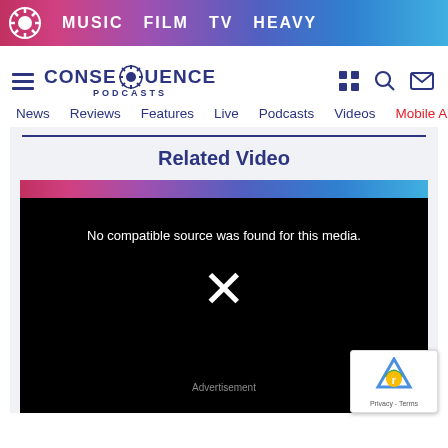MUSIC  FILM  TV  HEAVY
[Figure (logo): Consequence Podcasts logo with gear icon]
News  Reviews  Features  Live  Podcasts  Videos  Mobile A
Related Video
[Figure (screenshot): Video player showing error: No compatible source was found for this media. Large X symbol. Advertisement label at bottom. Google reCAPTCHA badge in bottom right corner with Privacy - Terms text.]